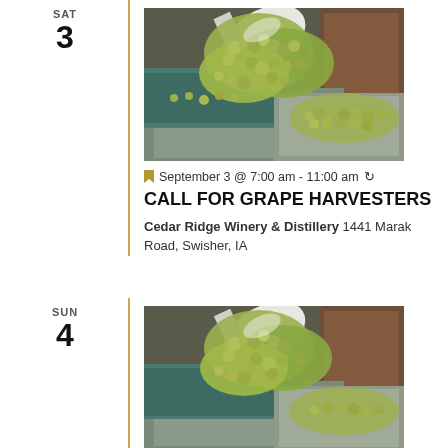SAT
3
[Figure (photo): Green grapes being poured from a white shovel/scoop into a sorting machine at a winery]
September 3 @ 7:00 am - 11:00 am
CALL FOR GRAPE HARVESTERS
Cedar Ridge Winery & Distillery 1441 Marak Road, Swisher, IA
SUN
4
[Figure (photo): Green grapes being poured from a white shovel/scoop — same scene as above, second event]